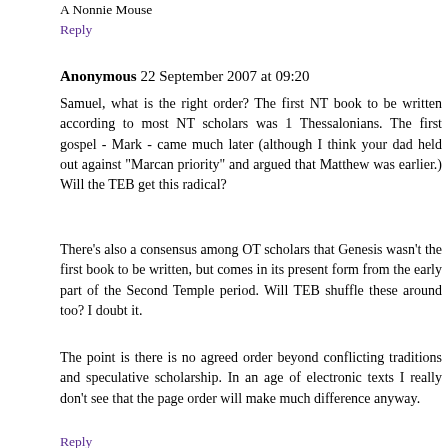A Nonnie Mouse
Reply
Anonymous  22 September 2007 at 09:20
Samuel, what is the right order? The first NT book to be written according to most NT scholars was 1 Thessalonians. The first gospel - Mark - came much later (although I think your dad held out against "Marcan priority" and argued that Matthew was earlier.) Will the TEB get this radical?
There's also a consensus among OT scholars that Genesis wasn't the first book to be written, but comes in its present form from the early part of the Second Temple period. Will TEB shuffle these around too? I doubt it.
The point is there is no agreed order beyond conflicting traditions and speculative scholarship. In an age of electronic texts I really don't see that the page order will make much difference anyway.
Reply